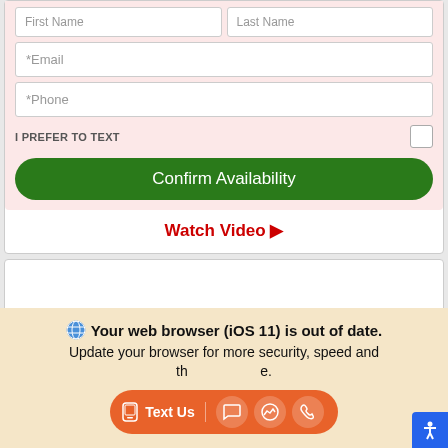[Figure (screenshot): Web form with email and phone input fields, a checkbox for text preference, a green Confirm Availability button, and a Watch Video link. Below is a partial card showing a Toyota dealer logo. An orange browser warning overlay is shown at the bottom with a chat bar.]
*Email
*Phone
I PREFER TO TEXT
Confirm Availability
Watch Video ▶
Your web browser (iOS 11) is out of date. Update your browser for more security, speed and the best experience.
Text Us